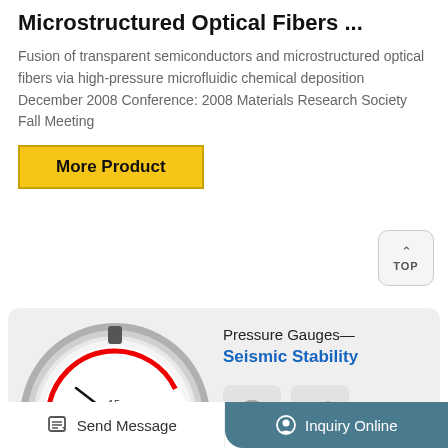Microstructured Optical Fibers ...
Fusion of transparent semiconductors and microstructured optical fibers via high-pressure microfluidic chemical deposition December 2008 Conference: 2008 Materials Research Society Fall Meeting
[Figure (other): Yellow button labeled 'More Product' with black border]
[Figure (other): TOP navigation button with upward arrow]
[Figure (photo): Photograph of a pressure gauge with Chinese text, red graduated scale markings, and metallic casing showing numbers 0-25]
Pressure Gauges—
Seismic Stability
[Figure (illustration): Two icon boxes showing a gauge icon and a gear/settings icon]
Send Message    Inquiry Online